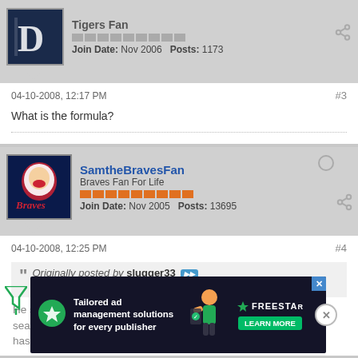Tigers Fan
Join Date: Nov 2006   Posts: 1173
04-10-2008, 12:17 PM
#3
What is the formula?
[Figure (photo): Atlanta Braves avatar logo]
SamtheBravesFan
Braves Fan For Life
Join Date: Nov 2005   Posts: 13695
04-10-2008, 12:25 PM
#4
Originally posted by slugger33
What is the formula?
He sho... the season... uth has the most hits in the NL (not counting). His line might start...
[Figure (infographic): Freestar ad: Tailored ad management solutions for every publisher]